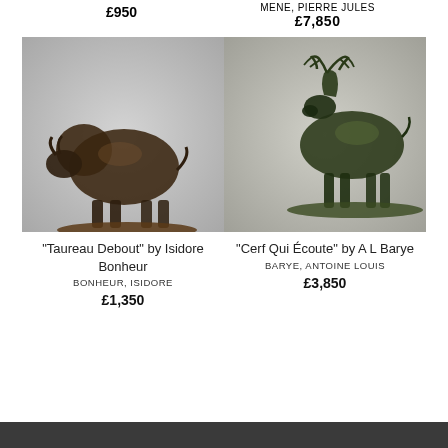£950
MENE, PIERRE JULES
£7,850
[Figure (photo): Bronze sculpture of a standing bull ('Taureau Debout') on a rectangular base, photographed against a grey background]
[Figure (photo): Bronze sculpture of a listening stag ('Cerf Qui Écoute') with antlers on a rectangular base, photographed against a grey background]
"Taureau Debout" by Isidore Bonheur
BONHEUR, ISIDORE
£1,350
"Cerf Qui Écoute" by A L Barye
BARYE, ANTOINE LOUIS
£3,850